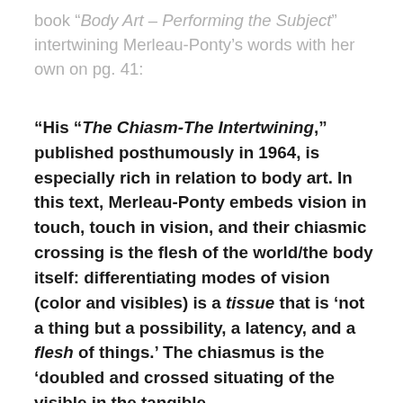book “Body Art – Performing the Subject” intertwining Merleau-Ponty’s words with her own on pg. 41:
“His “The Chiasm-The Intertwining,” published posthumously in 1964, is especially rich in relation to body art. In this text, Merleau-Ponty embeds vision in touch, touch in vision, and their chiasmic crossing is the flesh of the world/the body itself: differentiating modes of vision (color and visibles) is a tissue that is ‘not a thing but a possibility, a latency, and a flesh of things.’ The chiasmus is the ‘doubled and crossed situating of the visible in the tangible and of the tangible in the visible, the first